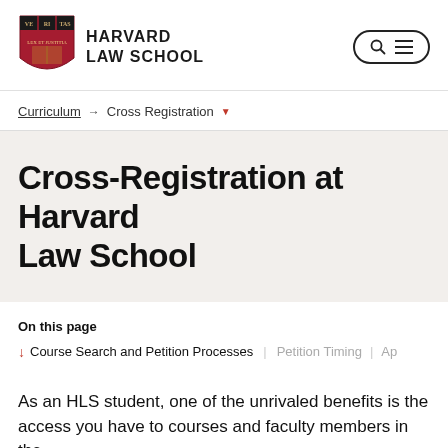HARVARD LAW SCHOOL
Curriculum → Cross Registration ▾
Cross-Registration at Harvard Law School
On this page
↓ Course Search and Petition Processes   Petition Timing   Ap…
As an HLS student, one of the unrivaled benefits is the access you have to courses and faculty members in the